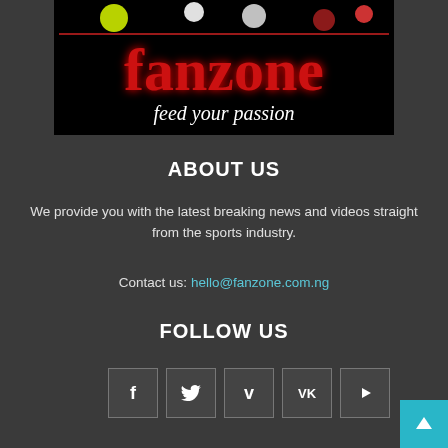[Figure (logo): Fanzone logo on black background with sports balls. Red neon 'fanzone' text with tagline 'feed your passion' in white cursive below.]
ABOUT US
We provide you with the latest breaking news and videos straight from the sports industry.
Contact us: hello@fanzone.com.ng
FOLLOW US
[Figure (infographic): Row of 5 social media icon buttons: Facebook (f), Twitter (bird), Vimeo (v), VK (vk), YouTube (play button). Dark gray squares with white icons and gray borders.]